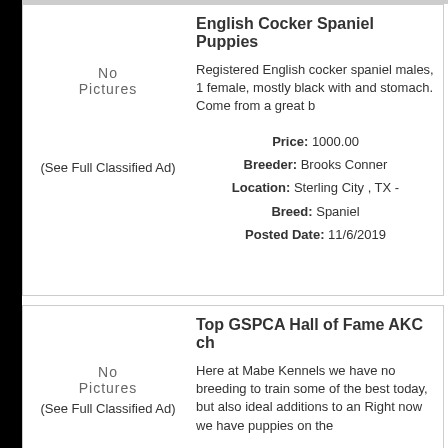English Cocker Spaniel Puppies
Registered English cocker spaniel males, 1 female, mostly black with and stomach. Come from a great b
[Figure (illustration): No Pictures placeholder for first listing]
(See Full Classified Ad)
Price: 1000.00
Breeder: Brooks Conner
Location: Sterling City , TX -
Breed: Spaniel
Posted Date: 11/6/2019
Top GSPCA Hall of Fame AKC ch
Here at Mabe Kennels we have no breeding to train some of the best today, but also ideal additions to an Right now we have puppies on the
[Figure (illustration): No Pictures placeholder for second listing]
(See Full Classified Ad)
Price: 900.00
Breeder: Mike Mabe
Location: odell, IL - United St
Breed: Pointer
Posted Date: 11/6/2019